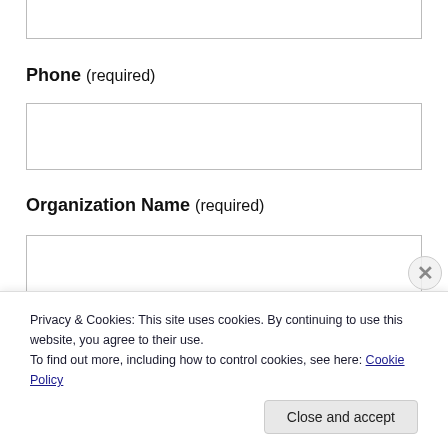[Figure (screenshot): Partial input box at top of page, cropped]
Phone (required)
[Figure (screenshot): Empty text input box for Phone field]
Organization Name (required)
[Figure (screenshot): Empty text input box for Organization Name field]
Privacy & Cookies: This site uses cookies. By continuing to use this website, you agree to their use. To find out more, including how to control cookies, see here: Cookie Policy
Close and accept